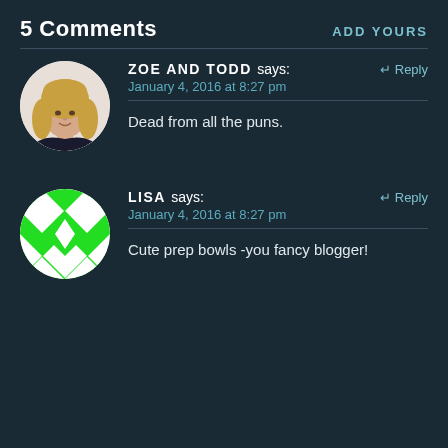5 Comments
ADD YOURS
ZOE AND TODD says:
January 4, 2016 at 8:27 pm
Reply
Dead from all the puns.
[Figure (photo): Circular avatar photo of a blonde woman]
LISA says:
January 4, 2016 at 8:27 pm
Reply
Cute prep bowls -you fancy blogger!
[Figure (illustration): Circular green and white diamond pattern avatar for Lisa]